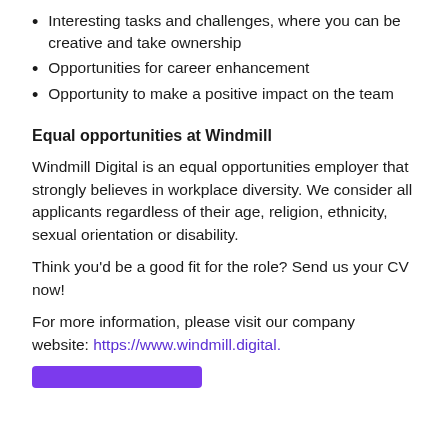Interesting tasks and challenges, where you can be creative and take ownership
Opportunities for career enhancement
Opportunity to make a positive impact on the team
Equal opportunities at Windmill
Windmill Digital is an equal opportunities employer that strongly believes in workplace diversity. We consider all applicants regardless of their age, religion, ethnicity, sexual orientation or disability.
Think you’d be a good fit for the role? Send us your CV now!
For more information, please visit our company website: https://www.windmill.digital.
[Figure (other): Purple button or banner at the bottom of the page]